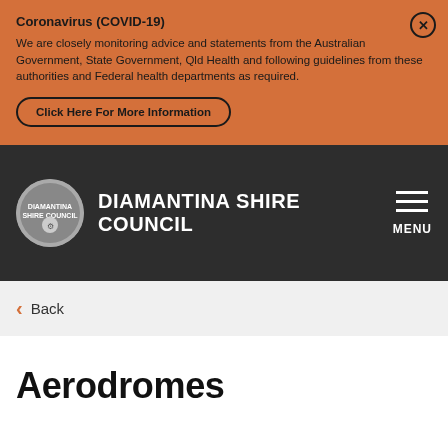Coronavirus (COVID-19)
We are closely monitoring advice and statements from the Australian Government, State Government, Qld Health and following guidelines from these authorities and Federal health departments as required.
Click Here For More Information
DIAMANTINA SHIRE COUNCIL
Back
Aerodromes